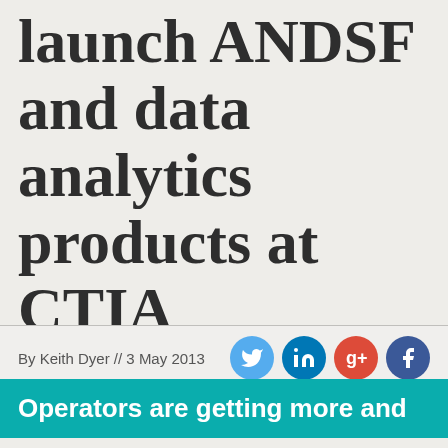launch ANDSF and data analytics products at CTIA
By Keith Dyer  // 3 May 2013
Operators are getting more and